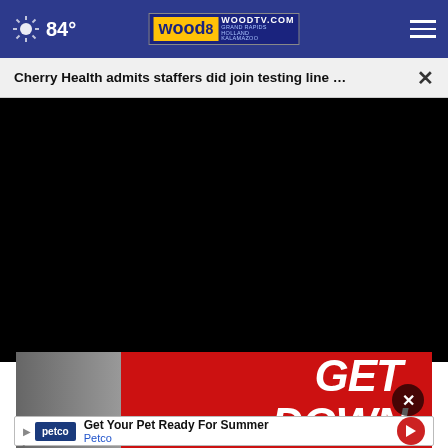84° WOODTV.COM GRAND RAPIDS HOLLAND KALAMAZOO
Cherry Health admits staffers did join testing line …
[Figure (screenshot): Black video player area embedded in webpage]
[Figure (photo): Advertisement banner: GET DOWN text with person on red background]
Get Your Pet Ready For Summer Petco